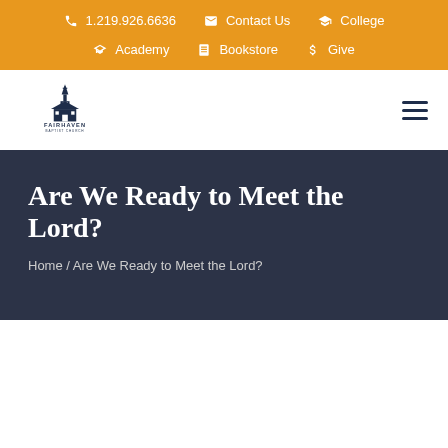1.219.926.6636 | Contact Us | College | Academy | Bookstore | Give
[Figure (logo): Fairhaven Baptist Church logo with church steeple icon and text 'FAIRHAVEN BAPTIST CHURCH']
Are We Ready to Meet the Lord?
Home / Are We Ready to Meet the Lord?